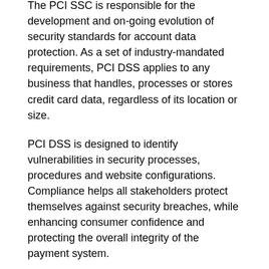The PCI SSC is responsible for the development and on-going evolution of security standards for account data protection. As a set of industry-mandated requirements, PCI DSS applies to any business that handles, processes or stores credit card data, regardless of its location or size.
PCI DSS is designed to identify vulnerabilities in security processes, procedures and website configurations. Compliance helps all stakeholders protect themselves against security breaches, while enhancing consumer confidence and protecting the overall integrity of the payment system.
PCI DSS compliance applies to all servers hosting merchant websites that accept Mastercard and/or Visa credit cards, even if the web servers do not store, process or transmit cardholder data (as they determine how cardholder data is processed and can thus affect the security of the transaction).